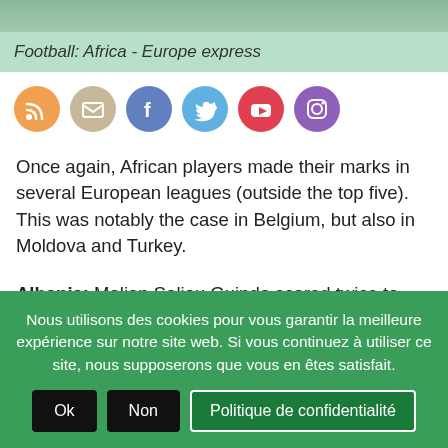[Figure (photo): Partial photo of people, cropped at top of page]
Football: Africa - Europe express
[Figure (other): Social media icons row: RSS, Email, Facebook, Twitter, YouTube, Instagram]
Once again, African players made their marks in several European leagues (outside the top five). This was notably the case in Belgium, but also in Moldova and Turkey.
Albania: Malian Saliou Guindo scored twice to help fourth-placed Laçi win 2-1 at Kukesi. Skenderbeu (9th) dominated Egnatia (0-0)
Nous utilisons des cookies pour vous garantir la meilleure expérience sur notre site web. Si vous continuez à utiliser ce site, nous supposerons que vous en êtes satisfait.